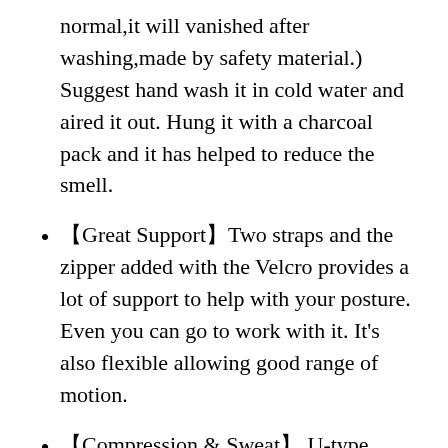normal,it will vanished after washing,made by safety material.) Suggest hand wash it in cold water and aired it out. Hung it with a charcoal pack and it has helped to reduce the smell.
【Great Support】Two straps and the zipper added with the Velcro provides a lot of support to help with your posture. Even you can go to work with it. It's also flexible allowing good range of motion.
【Compression & Sweat】 U-type design shape body and maintain posture. It supports for back and waist. The heat on all the vest area in your body and sweat